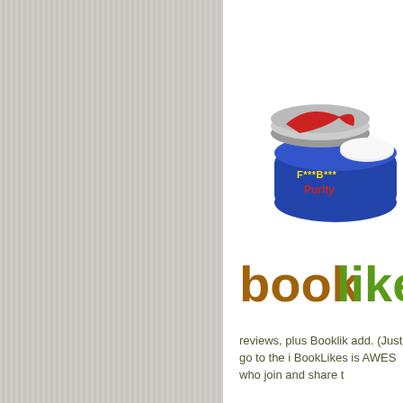[Figure (illustration): Left panel with vertical striped gray/beige background pattern]
[Figure (illustration): Product image of a blue jar of cream labeled F***B*** Purity with a red and white logo lid]
[Figure (logo): BookLikes logo text in brown and green gradient colors]
reviews, plus Booklikes add. (Just go to the in BookLikes is AWESO who join and share th